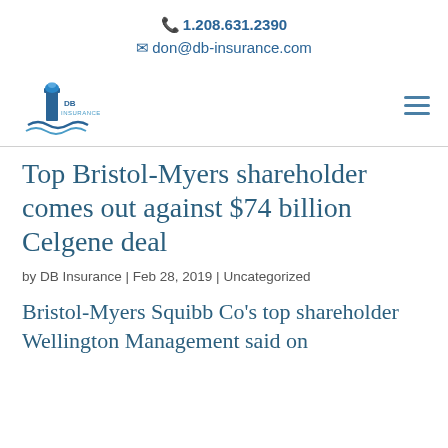1.208.631.2390
don@db-insurance.com
[Figure (logo): DB Insurance lighthouse logo with waves]
Top Bristol-Myers shareholder comes out against $74 billion Celgene deal
by DB Insurance | Feb 28, 2019 | Uncategorized
Bristol-Myers Squibb Co's top shareholder Wellington Management said on